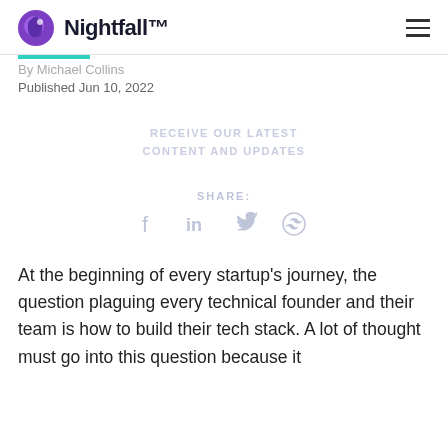Nightfall™
By Michael Collins
Published Jun 10, 2022
RECEIVE OUR LATEST CONTENT AND UPDATES
SHARE:
At the beginning of every startup's journey, the question plaguing every technical founder and their team is how to build their tech stack. A lot of thought must go into this question because it